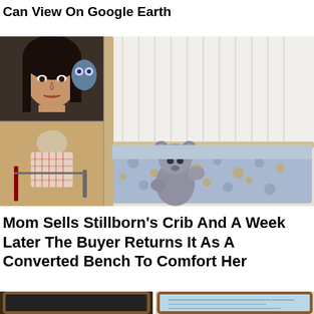Can View On Google Earth
[Figure (photo): Collage of photos: top-left shows a young woman with dark hair looking to the side; bottom-left shows an elderly man seated, viewed from behind; right side shows a white wooden crib/bed with blue patterned bedding and a gray teddy bear sitting against the headboard.]
Mom Sells Stillborn’s Crib And A Week Later The Buyer Returns It As A Converted Bench To Comfort Her
[Figure (photo): Two partially visible images at the bottom of the page: left shows a dark chalkboard sign with a wooden frame; right shows a colorful framed sign or poster.]